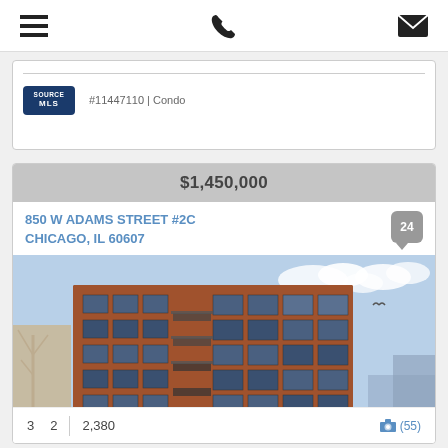[Figure (screenshot): Mobile app navigation bar with hamburger menu icon, phone icon, and envelope/email icon]
#11447110 | Condo
[Figure (logo): SOURCE MLS logo badge in navy blue]
$1,450,000
850 W ADAMS STREET #2C
CHICAGO, IL 60607
[Figure (photo): Exterior photo of a multi-story brick condominium building at 850 W Adams Street, Chicago. Modern loft-style building with large industrial windows and balconies.]
3  2  2,380  (55)